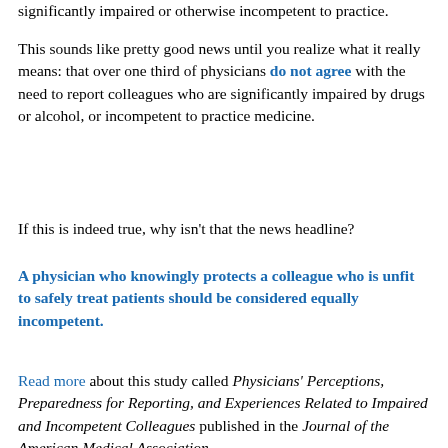significantly impaired or otherwise incompetent to practice.
This sounds like pretty good news until you realize what it really means: that over one third of physicians do not agree with the need to report colleagues who are significantly impaired by drugs or alcohol, or incompetent to practice medicine.
If this is indeed true, why isn't that the news headline?
A physician who knowingly protects a colleague who is unfit to safely treat patients should be considered equally incompetent.
Read more about this study called Physicians' Perceptions, Preparedness for Reporting, and Experiences Related to Impaired and Incompetent Colleagues published in the Journal of the American Medical Association.